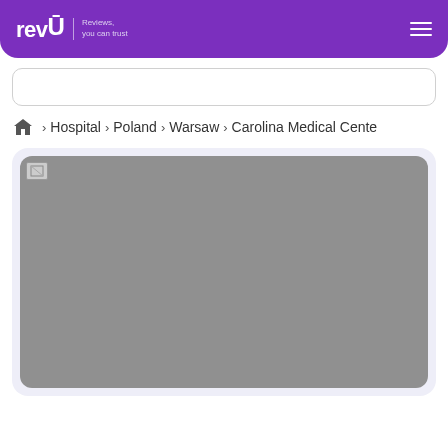revU — Reviews, you can trust
Search bar (empty)
Home > Hospital > Poland > Warsaw > Carolina Medical Cente
[Figure (photo): Facility photo placeholder — image failed to load, shown as gray rectangle with broken image icon in top-left corner, inside a light purple/lavender rounded card]